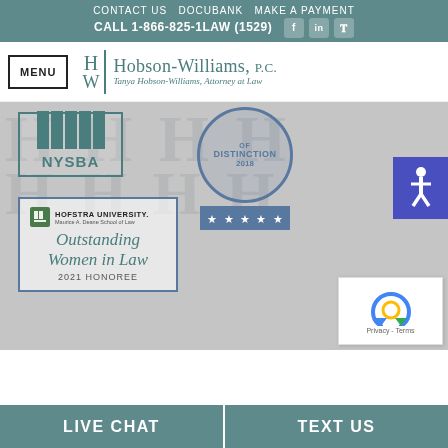CONTACT US  DOCUBANK  MAKE A PAYMENT
CALL 1-866-825-1LAW (1529)
[Figure (logo): Hobson-Williams P.C. law firm logo with HW monogram and tagline: Tanya Hobson-Williams, Attorney at Law]
[Figure (logo): NYSBA badge (New York State Bar Association)]
[Figure (logo): Of Distinction 2018 badge with 5-star rating bar]
[Figure (logo): Accessibility icon (blue square with wheelchair symbol)]
[Figure (logo): Hofstra University Maurice A. Deane School of Law - Outstanding Women in Law 2021 Honoree badge]
[Figure (other): reCAPTCHA verification widget showing recycling arrow logo with Privacy and Terms links]
LIVE CHAT
TEXT US